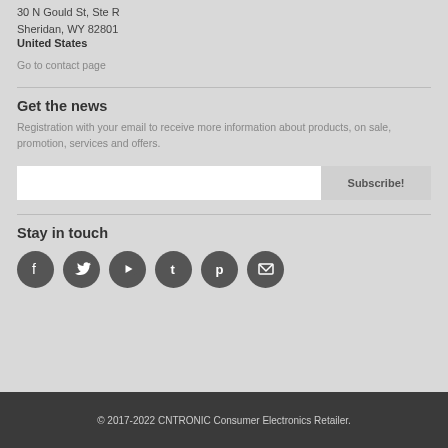30 N Gould St, Ste R
Sheridan, WY 82801
United States
Go to contact page
Get the news
Registration with your email to receive more information about products, on sale, promotion, services and offers.
Stay in touch
[Figure (infographic): Six social media icons in dark circles: Facebook, Twitter, YouTube, Tumblr, Pinterest, Email]
© 2017-2022 CNTRONIC Consumer Electronics Retailer.